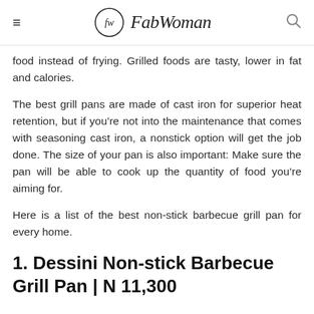FabWoman
food instead of frying. Grilled foods are tasty, lower in fat and calories.
The best grill pans are made of cast iron for superior heat retention, but if you’re not into the maintenance that comes with seasoning cast iron, a nonstick option will get the job done. The size of your pan is also important: Make sure the pan will be able to cook up the quantity of food you’re aiming for.
Here is a list of the best non-stick barbecue grill pan for every home.
1. Dessini Non-stick Barbecue Grill Pan | N 11,300